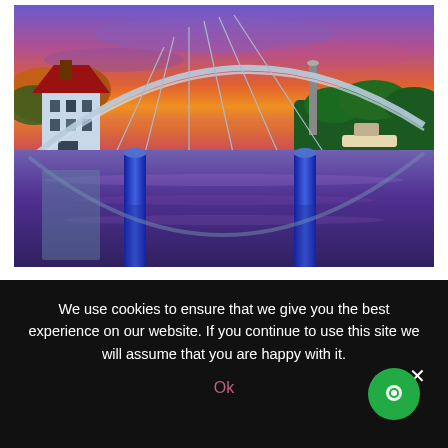[Figure (illustration): A colorful painting of a bridge over a river at sunset in Berlin. Features a white building with a red roof on the left reflected in the purple-hued water, tall blue mooring posts in the foreground, an arched bridge spanning the river, and a vivid pink-purple-orange sky. Trees and a boat visible in the background.]
SUNRISE- Reflection Berlin
by Laetitia | May 20, 2021
We use cookies to ensure that we give you the best experience on our website. If you continue to use this site we will assume that you are happy with it.
Ok